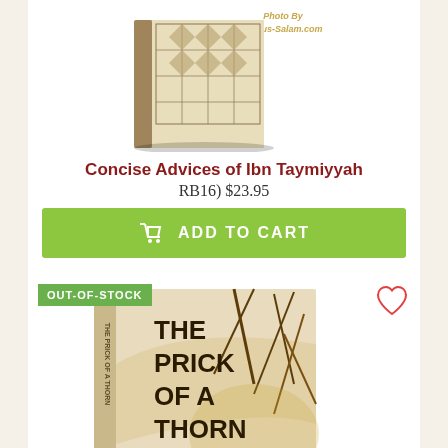[Figure (photo): Book cover of 'Concise Advices of Ibn Taymiyyah' shown at an angle with decorative Islamic pattern, watermark 'Photo By Dar-us-Salam.com']
Concise Advices of Ibn Taymiyyah
RB16) $23.95
ADD TO CART
[Figure (photo): Book cover of 'The Prick of a Thorn' by Dr. Aisha Utz, showing thorns background, subtitle 'Coping with the Trials and Tribulations of Life', watermark 'Photo by Dar-us-Salam.com']
OUT-OF-STOCK